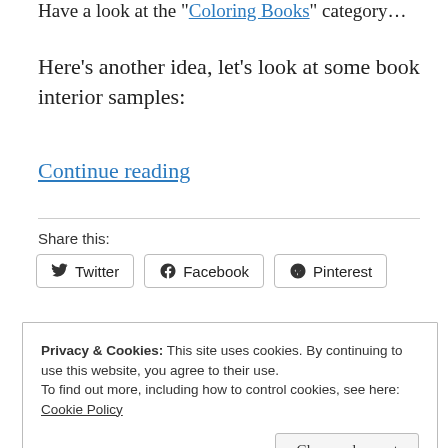Have a look at the "Coloring Books" category…
Here's another idea, let's look at some book interior samples:
Continue reading
Share this:
Twitter
Facebook
Pinterest
Privacy & Cookies: This site uses cookies. By continuing to use this website, you agree to their use.
To find out more, including how to control cookies, see here: Cookie Policy
Close and accept